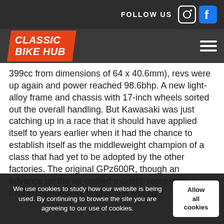FOLLOW US
[Figure (logo): Classic Bike Hub logo — white italic bold text on orange parallelogram badge]
399cc from dimensions of 64 x 40.6mm), revs were up again and power reached 98.6bhp. A new light-alloy frame and chassis with 17-inch wheels sorted out the overall handling. But Kawasaki was just catching up in a race that it should have applied itself to years earlier when it had the chance to establish itself as the middleweight champion of a class that had yet to be adopted by the other factories. The original GPz600R, though an advance on the air-cooled models, represents a missed opportunity to grab the limelight.
We use cookies to study how our website is being used. By continuing to browse the site you are agreeing to our use of cookies.